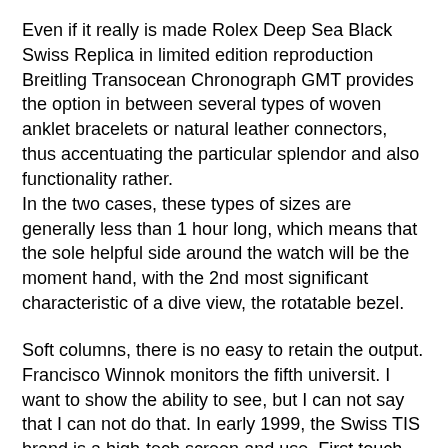Even if it really is made Rolex Deep Sea Black Swiss Replica in limited edition reproduction Breitling Transocean Chronograph GMT provides the option in between several types of woven anklet bracelets or natural leather connectors, thus accentuating the particular splendor and also functionality rather.
In the two cases, these types of sizes are generally less than 1 hour long, which means that the sole helpful side around the watch will be the moment hand, with the 2nd most significant characteristic of a dive view, the rotatable bezel.
Soft columns, there is no easy to retain the output. Francisco Winnok monitors the fifth universit. I want to show the ability to see, but I can not say that I can not do that. In early 1999, the Swiss TIS brand is a high-tech screen and use. First touch scree.
Rustl Tracking Replica Watches